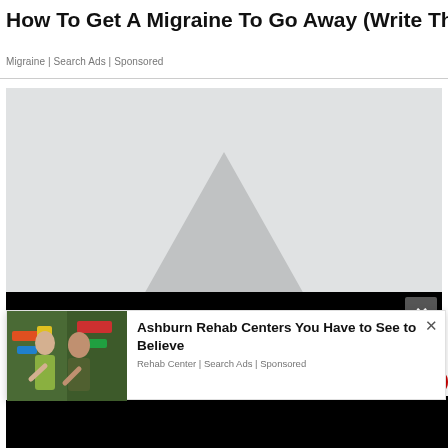How To Get A Migraine To Go Away (Write Th
Migraine | Search Ads | Sponsored
[Figure (photo): Misty outdoor photo with a cone or mountain shape, partially obscured by a black overlay bar with a close button]
[Figure (photo): Popup advertisement showing two people against a graffiti wall, with headline 'Ashburn Rehab Centers You Have to See to Believe', source 'Rehab Center | Search Ads | Sponsored', and a close X button]